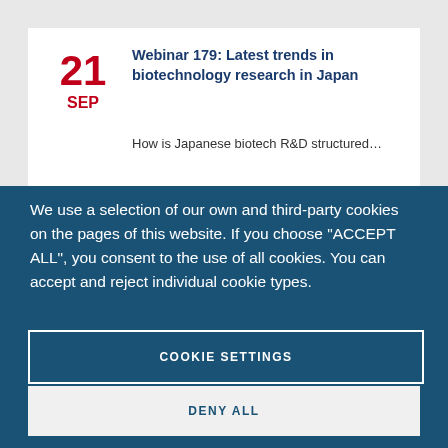Webinar 179: Latest trends in biotechnology research in Japan
How is Japanese biotech R&D structured…
We use a selection of our own and third-party cookies on the pages of this website. If you choose "ACCEPT ALL", you consent to the use of all cookies. You can accept and reject individual cookie types.
COOKIE SETTINGS
DENY ALL
ACCEPT ALL